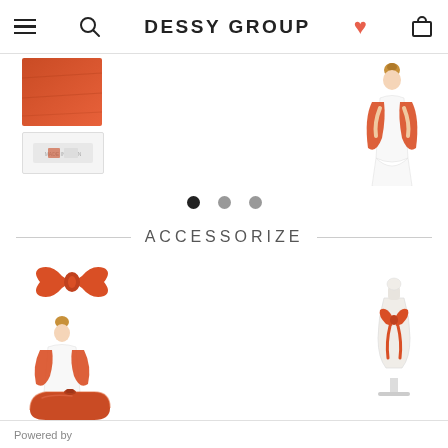DESSY GROUP
[Figure (photo): Orange/red fabric swatch thumbnail]
[Figure (photo): Small label/logo image placeholder thumbnail]
[Figure (photo): Model wearing white dress with orange shawl wrap]
[Figure (illustration): Three pagination dots, first dot active]
ACCESSORIZE
[Figure (photo): Orange face mask accessory]
[Figure (photo): Model wearing orange shawl wrap over white dress]
[Figure (photo): Orange satin clutch bag]
[Figure (photo): Dress form mannequin with orange ribbon sash bow]
Powered by